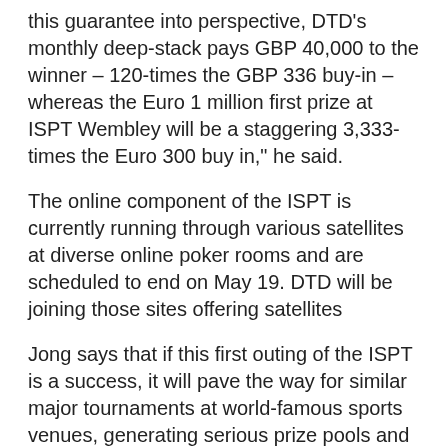this guarantee into perspective, DTD's monthly deep-stack pays GBP 40,000 to the winner – 120-times the GBP 336 buy-in – whereas the Euro 1 million first prize at ISPT Wembley will be a staggering 3,333-times the Euro 300 buy in," he said.
The online component of the ISPT is currently running through various satellites at diverse online poker rooms and are scheduled to end on May 19. DTD will be joining those sites offering satellites
Jong says that if this first outing of the ISPT is a success, it will pave the way for similar major tournaments at world-famous sports venues, generating serious prize pools and giving poker significant mainstream exposure alongside sports icons like the FA Cup final.
Online Poker Rooms